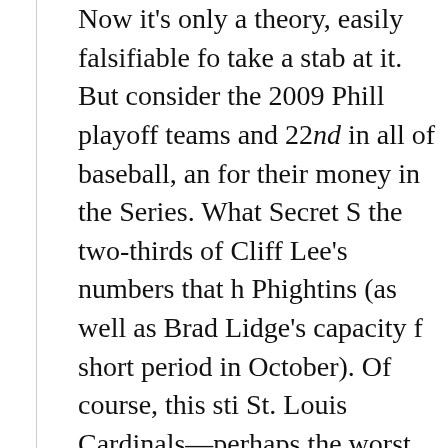Now it's only a theory, easily falsifiable for anyone willing to take a stab at it. But consider the 2009 Phillies, ranked last among playoff teams and 22nd in all of baseball, and who gave the Yankees a run for their money in the Series. What Secret Sauce explains the two-thirds of Cliff Lee's numbers that he gave the Phightins (as well as Brad Lidge's capacity for unhittability for a short period in October). Of course, this still doesn't explain the St. Louis Cardinals—perhaps the worst on-paper team ever—who took home the Commissioner's Trophy.
What I'd hope you take away from this is not that metrics are worthless, but rather that we should remember the sample size of performance when playoff prognosticators speak about the postseason (don't repeat that last clause aloud…